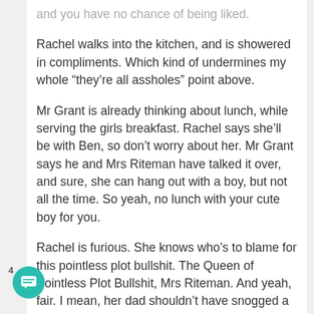and you have no chance of being liked.
Rachel walks into the kitchen, and is showered in compliments. Which kind of undermines my whole “they’re all assholes” point above.
Mr Grant is already thinking about lunch, while serving the girls breakfast. Rachel says she’ll be with Ben, so don’t worry about her. Mr Grant says he and Mrs Riteman have talked it over, and sure, she can hang out with a boy, but not all the time. So yeah, no lunch with your cute boy for you.
Rachel is furious. She knows who’s to blame for this pointless plot bullshit. The Queen of Pointless Plot Bullshit, Mrs Riteman. And yeah, fair. I mean, her dad shouldn’t have snogged a woman, and then started acting as if he and Mrs Riteman have